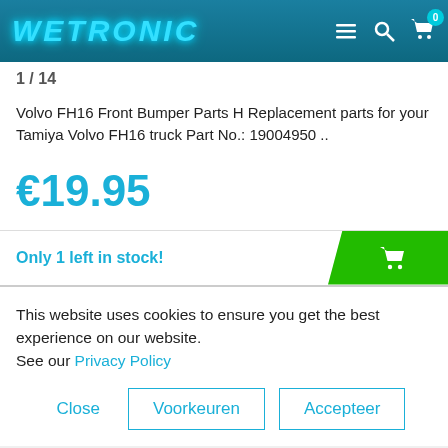WETRONIC
1/14
Volvo FH16 Front Bumper Parts H Replacement parts for your Tamiya Volvo FH16 truck Part No.: 19004950 ..
€19.95
Only 1 left in stock!
This website uses cookies to ensure you get the best experience on our website. See our Privacy Policy
Close
Voorkeuren
Accepteer